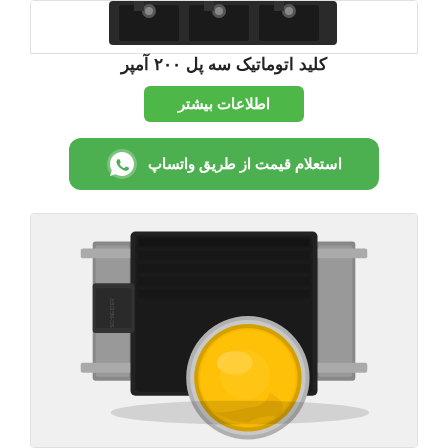[Figure (photo): Top portion of an industrial circuit breaker or switching device, black, partially visible at top of page]
کلید اتوماتیک سه پل ۲۰۰ آمپر
اطلاعات بیشتر
استعلام قیمت از طریق واتساپ
[Figure (photo): Close-up photo of a yellow illuminated push button switch with metal housing and mounting bracket, industrial electrical component]